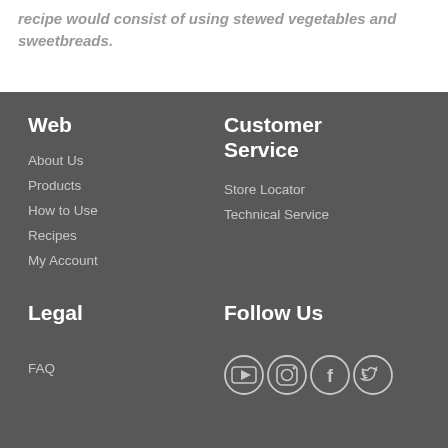recipe would consist of using stewed vegetables and sweetbreads.
Web
About Us
Products
How to Use
Recipes
My Account
Customer Service
Store Locator
Technical Service
Legal
FAQ
Follow Us
[Figure (other): Social media icons: YouTube, Instagram, Facebook, Twitter]